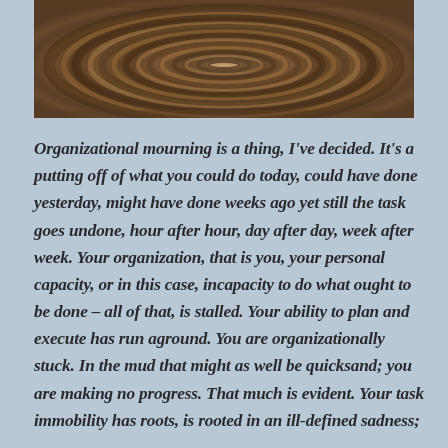[Figure (photo): Close-up photograph of a tree trunk cross-section showing concentric growth rings in brown and tan tones, viewed from above.]
Organizational mourning is a thing, I've decided. It's a putting off of what you could do today, could have done yesterday, might have done weeks ago yet still the task goes undone, hour after hour, day after day, week after week. Your organization, that is you, your personal capacity, or in this case, incapacity to do what ought to be done – all of that, is stalled. Your ability to plan and execute has run aground. You are organizationally stuck. In the mud that might as well be quicksand; you are making no progress. That much is evident. Your task immobility has roots, is rooted in an ill-defined sadness;